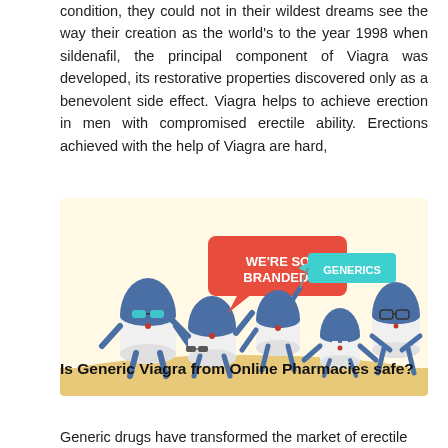condition, they could not in their wildest dreams see the way their creation as the world's to the year 1998 when sildenafil, the principal component of Viagra was developed, its restorative properties discovered only as a benevolent side effect. Viagra helps to achieve erection in men with compromised erectile ability. Erections achieved with the help of Viagra are hard,
[Figure (illustration): Cartoon illustration of pill capsule characters — some branded (with sunglasses and a red speech bubble saying 'WE'RE SO BRANDED!') and some generics (holding a teal sign saying 'GENERICS') — on a sandy background.]
Is Generic Viagra from Online Pharmacies safe?
Generic drugs have transformed the market of erectile